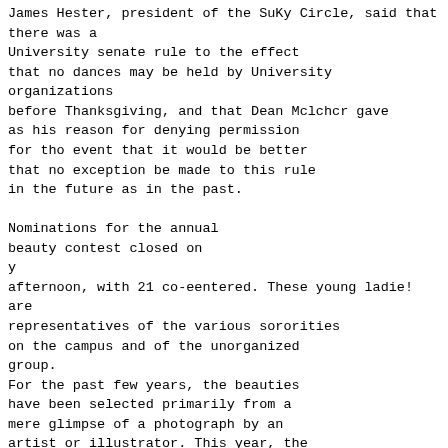James Hester, president of the SuKy Circle, said that there was a
University senate rule to the effect
that no dances may be held by University organizations
before Thanksgiving, and that Dean Mclchcr gave
as his reason for denying permission
for tho event that it would be better
that no exception be made to this rule
in the future as in the past.

Nominations for the annual
beauty contest closed on
y
afternoon, with 21 co-eentered. These young ladie! are
representatives of the various sororities
on the campus and of the unorganized
group.
For the past few years, the beauties
have been selected primarily from a
mere glimpse of a photograph by an
artist or illustrator. This year, the
selection will be on a different basis.
Of the 21 girls on the ballot,. 14 will
be selected by the students. In other
words, the' highest 14 candidates,. as
to the number of ballots cast, will be
W. & L.
the select list.
Then this list will be
turned over to John W. Dundon, editor of the 1929